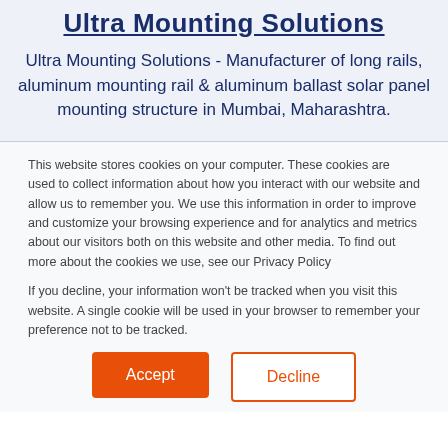Ultra Mounting Solutions
Ultra Mounting Solutions - Manufacturer of long rails, aluminum mounting rail & aluminum ballast solar panel mounting structure in Mumbai, Maharashtra.
This website stores cookies on your computer. These cookies are used to collect information about how you interact with our website and allow us to remember you. We use this information in order to improve and customize your browsing experience and for analytics and metrics about our visitors both on this website and other media. To find out more about the cookies we use, see our Privacy Policy
If you decline, your information won't be tracked when you visit this website. A single cookie will be used in your browser to remember your preference not to be tracked.
Accept
Decline